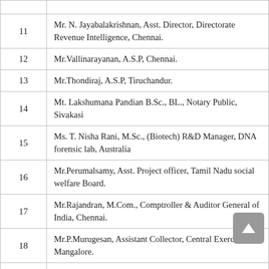| No. | Name & Designation |
| --- | --- |
| 11 | Mr. N. Jayabalakrishnan, Asst. Director, Directorate Revenue Intelligence, Chennai. |
| 12 | Mr.Vallinarayanan, A.S.P, Chennai. |
| 13 | Mr.Thondiraj, A.S.P, Tiruchandur. |
| 14 | Mt. Lakshumana Pandian B.Sc., BL., Notary Public, Sivakasi |
| 15 | Ms. T. Nisha Rani, M.Sc., (Biotech) R&D Manager, DNA forensic lab, Australia |
| 16 | Mr.Perumalsamy, Asst. Project officer, Tamil Nadu social welfare Board. |
| 17 | Mr.Rajandran, M.Com., Comptroller & Auditor General of India, Chennai. |
| 18 | Mr.P.Murugesan, Assistant Collector, Central Exercise, Mangalore. |
| 19 | Mr.R.Karuppiah, Director, Ministry of Defense, New |